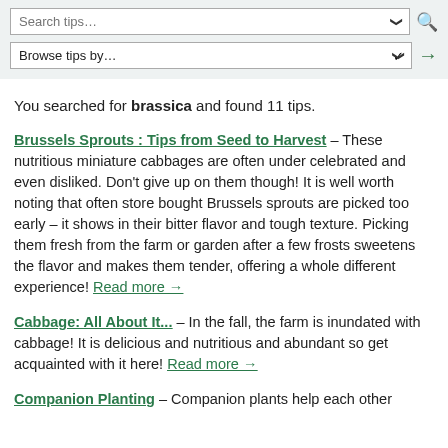Search tips...
Browse tips by…
You searched for brassica and found 11 tips.
Brussels Sprouts : Tips from Seed to Harvest – These nutritious miniature cabbages are often under celebrated and even disliked. Don't give up on them though! It is well worth noting that often store bought Brussels sprouts are picked too early – it shows in their bitter flavor and tough texture. Picking them fresh from the farm or garden after a few frosts sweetens the flavor and makes them tender, offering a whole different experience! Read more →
Cabbage: All About It... – In the fall, the farm is inundated with cabbage! It is delicious and nutritious and abundant so get acquainted with it here! Read more →
Companion Planting – Companion plants help each other